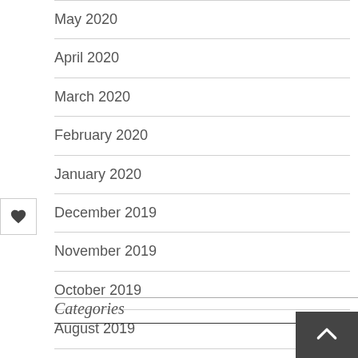May 2020
April 2020
March 2020
February 2020
January 2020
December 2019
November 2019
October 2019
August 2019
July 2019
Categories